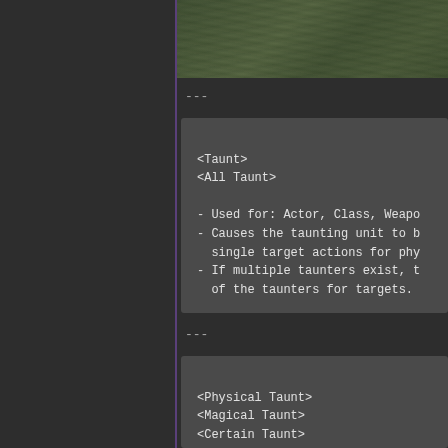[Figure (screenshot): Green camouflage texture or terrain screenshot at the top of the right panel]
---
<Taunt>
<All Taunt>

- Used for: Actor, Class, Weapo...
- Causes the taunting unit to be...
  single target actions for phy...
- If multiple taunters exist, t...
  of the taunters for targets.
---
<Physical Taunt>
<Magical Taunt>
<Certain Taunt>

- Used for: Actor, Class, Weapo...
- Causes the taunting unit to...